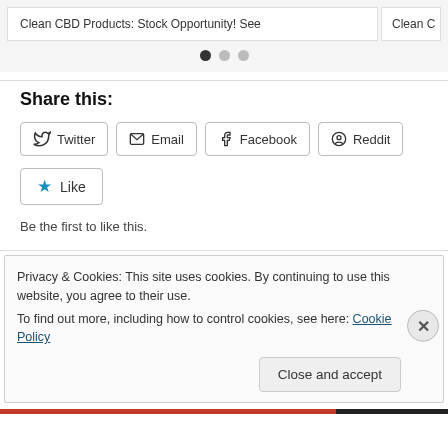[Figure (screenshot): Ad banner showing 'Clean CBD Products: Stock Opportunity! See' with pagination dots below]
Share this:
Twitter
Email
Facebook
Reddit
Like
Be the first to like this.
Privacy & Cookies: This site uses cookies. By continuing to use this website, you agree to their use.
To find out more, including how to control cookies, see here: Cookie Policy
Close and accept